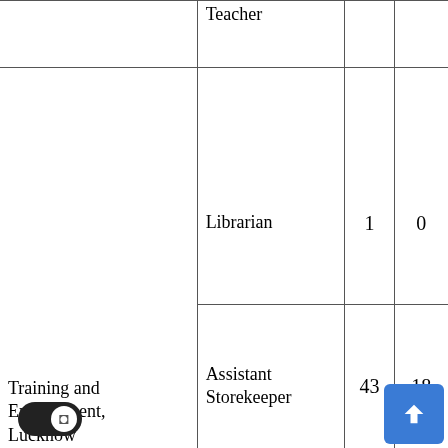|  |  |  |  |
| --- | --- | --- | --- |
|  | Teacher |  |  |
| Training and Employment, Lucknow | Librarian | 1 | 0 |
| Training and Employment, Lucknow | Assistant Storekeeper | 43 | 18 |
| …ts and M… | Inspector Weight… |  |  |